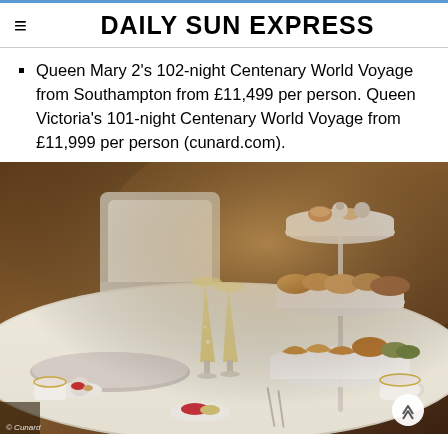DAILY SUN EXPRESS
Queen Mary 2's 102-night Centenary World Voyage from Southampton from £11,499 per person. Queen Victoria's 101-night Centenary World Voyage from £11,999 per person (cunard.com).
[Figure (photo): Elegant afternoon tea setting on a cruise ship, showing a three-tiered cake stand with pastries, scones and sandwiches, champagne flutes, fine china teacups, and desserts on a white tablecloth with plated silverware. Credit: © Cunard]